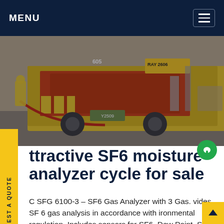MENU
[Figure (photo): Yellow service truck with equipment at an industrial/utility site, seen from behind, with cables connected to equipment on a flat-bed trailer. Industrial background with structures visible.]
Extractive SF6 moisture analyzer cycle for sale
C SFG 6100-3 – SF6 Gas Analyzer with 3 Gas. vides SF 6 gas analysis in accordance with ironmental regulation. Includes sensors for SF6, Dew Point, SO2. Modular design allows for a custom sensor combination upon request. Lithium battery provides up to eight hours of operation. Charging is